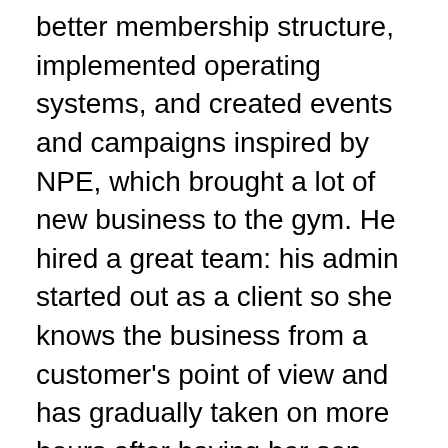better membership structure, implemented operating systems, and created events and campaigns inspired by NPE, which brought a lot of new business to the gym. He hired a great team: his admin started out as a client so she knows the business from a customer's point of view and has gradually taken on more hours after having her son. James also hired a trainer that shares the same values as him and isn't just driven by money.